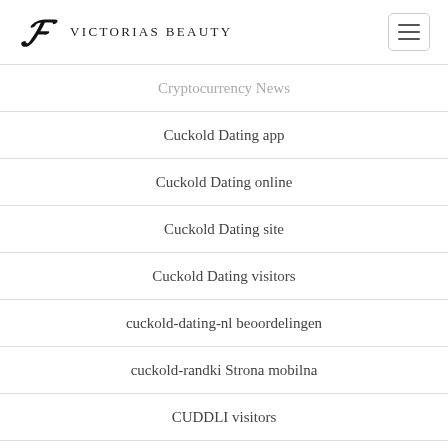Victorias Beauty
Cryptocurrency News
Cuckold Dating app
Cuckold Dating online
Cuckold Dating site
Cuckold Dating visitors
cuckold-dating-nl beoordelingen
cuckold-randki Strona mobilna
CUDDLI visitors
Cupid app app